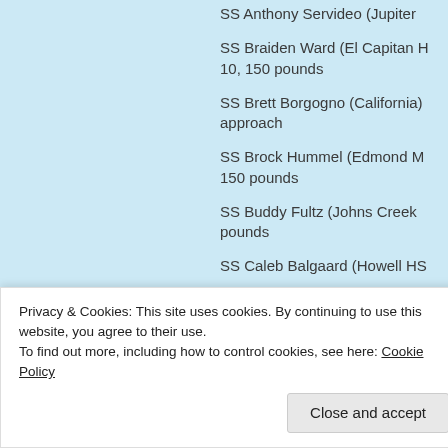SS Anthony Servideo (Jupiter
SS Braiden Ward (El Capitan H 10, 150 pounds
SS Brett Borgogno (California) approach
SS Brock Hummel (Edmond M 150 pounds
SS Buddy Fultz (Johns Creek pounds
SS Caleb Balgaard (Howell HS
SS Cameron Irvine (Spotswood pounds
Hil
se
Privacy & Cookies: This site uses cookies. By continuing to use this website, you agree to their use.
To find out more, including how to control cookies, see here: Cookie Policy
Close and accept